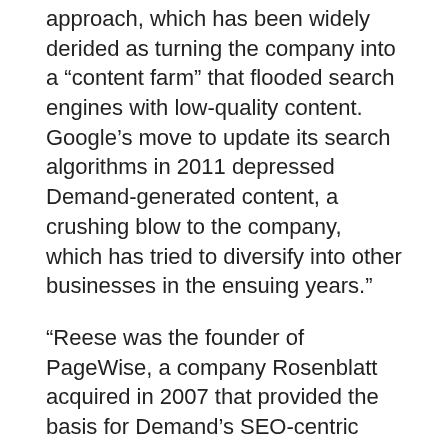approach, which has been widely derided as turning the company into a “content farm” that flooded search engines with low-quality content. Google’s move to update its search algorithms in 2011 depressed Demand-generated content, a crushing blow to the company, which has tried to diversify into other businesses in the ensuing years.”
“Reese was the founder of PageWise, a company Rosenblatt acquired in 2007 that provided the basis for Demand’s SEO-centric strategies. He is a widely published futurist who has been featured in TED Talks and released a book earlier this year, “Infinite Progress: How Technology Will End Ignorance, Disease, Hunger, Poverty, and War.”
“A bio page for Reese on Demand’s site has been removed, and he lists Demand as a previous employer on his LinkedIn page.”
“Most of the laid-off employees were known as “Demand…